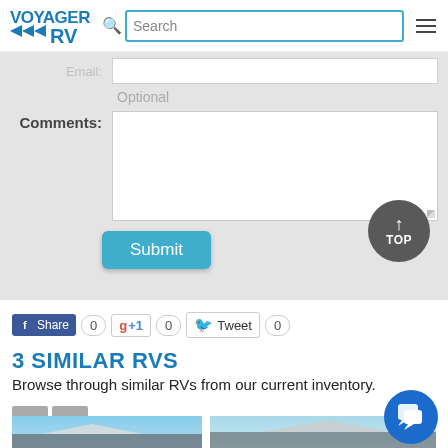Voyager RV — Search bar with hamburger menu
[Figure (screenshot): Website screenshot showing a contact form with Email, Optional, and Comments fields, a Submit button, a scroll-to-top button, social share buttons (Facebook Share, Google +1, Twitter Tweet) each showing count 0, a '3 SIMILAR RVS' section header, descriptive text, carousel navigation arrows, and two RV images at the bottom.]
3 SIMILAR RVS
Browse through similar RVs from our current inventory.